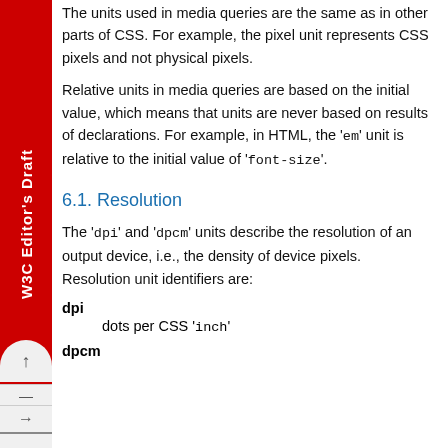The units used in media queries are the same as in other parts of CSS. For example, the pixel unit represents CSS pixels and not physical pixels.
Relative units in media queries are based on the initial value, which means that units are never based on results of declarations. For example, in HTML, the 'em' unit is relative to the initial value of 'font-size'.
6.1. Resolution
The 'dpi' and 'dpcm' units describe the resolution of an output device, i.e., the density of device pixels. Resolution unit identifiers are:
dpi
    dots per CSS 'inch'
dpcm